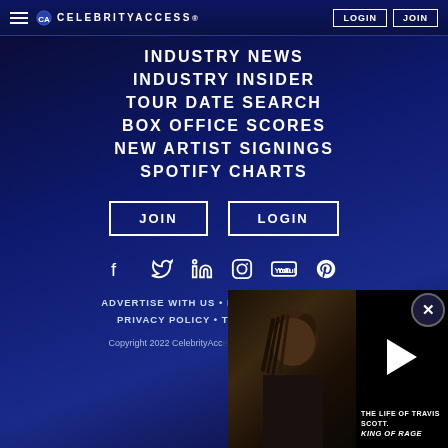CELEBRITY ACCESS — LOGIN | JOIN
INDUSTRY NEWS
INDUSTRY INSIDER
TOUR DATE SEARCH
BOX OFFICE SCORES
NEW ARTIST SIGNINGS
SPOTIFY CHARTS
JOIN   LOGIN
[Figure (infographic): Social media icons: Facebook, Twitter, LinkedIn, Instagram, YouTube, Pinterest]
ADVERTISE WITH US • ENTER... PRIVACY POLICY • TER...
Copyright 2022 CelebrityAcc...
[Figure (screenshot): Video overlay showing Travis Scott with text: THE LIFE OF TRAVIS SCOTT. KING OF RAGE. Slap branding in top right. Close button (X) in top right corner.]